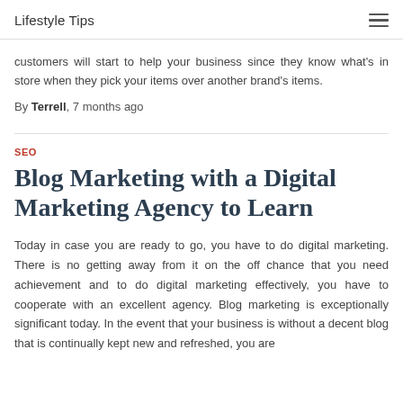Lifestyle Tips
customers will start to help your business since they know what's in store when they pick your items over another brand's items.
By Terrell, 7 months ago
SEO
Blog Marketing with a Digital Marketing Agency to Learn
Today in case you are ready to go, you have to do digital marketing. There is no getting away from it on the off chance that you need achievement and to do digital marketing effectively, you have to cooperate with an excellent agency. Blog marketing is exceptionally significant today. In the event that your business is without a decent blog that is continually kept new and refreshed, you are